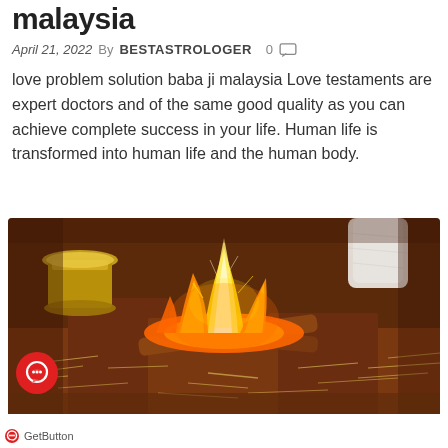malaysia
April 21, 2022  By  BESTASTROLOGER   0
love problem solution baba ji malaysia Love testaments are expert doctors and of the same good quality as you can achieve complete success in your life. Human life is transformed into human life and the human body.
[Figure (photo): A close-up photo of a ritual fire (havan/yagya) with bright orange-yellow flames rising from a clay/brick pit, surrounded by offerings. A brass bowl with yellow substance visible in the background, and a person's hand/feet visible at the top.]
GetButton